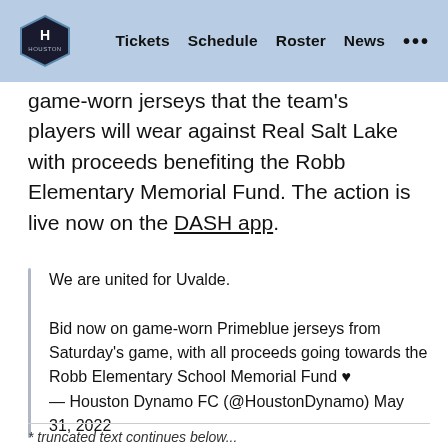Tickets  Schedule  Roster  News  ...
game-worn jerseys that the team's players will wear against Real Salt Lake with proceeds benefiting the Robb Elementary Memorial Fund. The action is live now on the DASH app.
We are united for Uvalde.

Bid now on game-worn Primeblue jerseys from Saturday's game, with all proceeds going towards the Robb Elementary School Memorial Fund ♥
— Houston Dynamo FC (@HoustonDynamo) May 31, 2022
* cut off text at bottom of page